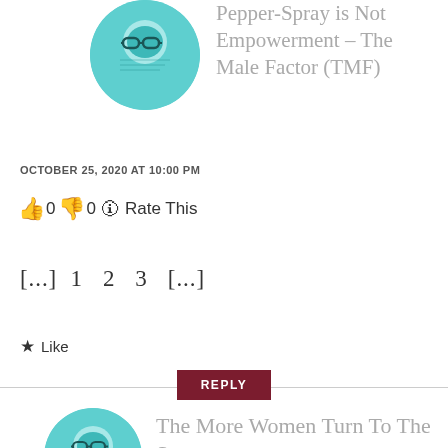Pepper-Spray is Not Empowerment – The Male Factor (TMF)
OCTOBER 25, 2020 AT 10:00 PM
👍 0 👎 0 ℹ Rate This
[...] 1  2  3  [...]
★ Like
REPLY
The More Women Turn To The State